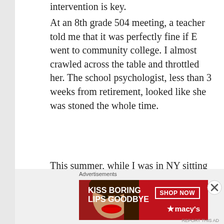intervention is key.
At an 8th grade 504 meeting, a teacher told me that it was perfectly fine if E went to community college. I almost crawled across the table and throttled her. The school psychologist, less than 3 weeks from retirement, looked like she was stoned the whole time.
This summer, while I was in NY sitting by my mom's hospital bed and/or trying to keep her from falling again, E was home studying calculus. When he went back to school in fall, he asked the AP Calc B/C teacher if he could take the final for the qualifying course so he could switch into AP Calc B/C. She said no. I went ballistic, they let
Advertisements
[Figure (illustration): Advertisement banner for Macy's cosmetics: red background with woman's face and lips, text 'KISS BORING LIPS GOODBYE' on left, 'SHOP NOW' button and Macy's star logo on right.]